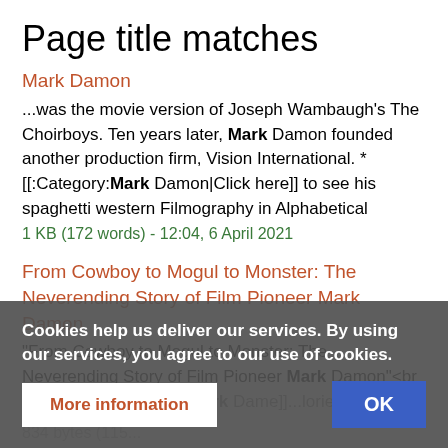Page title matches
Mark Damon
...was the movie version of Joseph Wambaugh's The Choirboys. Ten years later, Mark Damon founded another production firm, Vision International. * [[:Category:Mark Damon|Click here]] to see his spaghetti western Filmography in Alphabetical
1 KB (172 words) - 12:04, 6 April 2021
From Cowboy to Mogul to Monster: The Neverending Story of Film Pioneer Mark Damon
"From Cowboy to Mogul to Monster: The Neverending Story of Film Pioneer Mark Damon"<br /> '''Author:'''
834 bytes (115...
Cookies help us deliver our services. By using our services, you agree to our use of cookies.
More information
OK